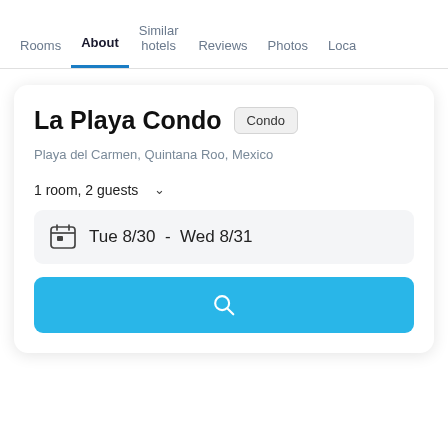Rooms | About | Similar hotels | Reviews | Photos | Loca…
La Playa Condo
Condo
Playa del Carmen, Quintana Roo, Mexico
1 room, 2 guests
Tue 8/30  -  Wed 8/31
[Figure (screenshot): Blue search button with magnifying glass icon]